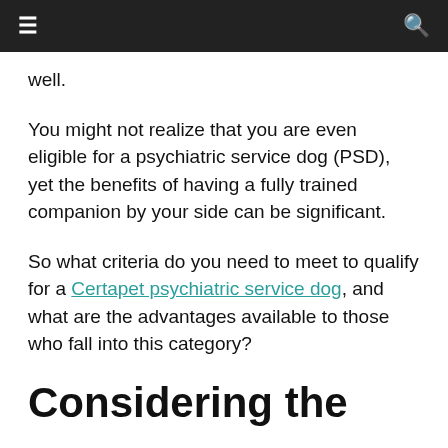≡  🔍
well.
You might not realize that you are even eligible for a psychiatric service dog (PSD), yet the benefits of having a fully trained companion by your side can be significant.
So what criteria do you need to meet to qualify for a Certapet psychiatric service dog, and what are the advantages available to those who fall into this category?
Considering the